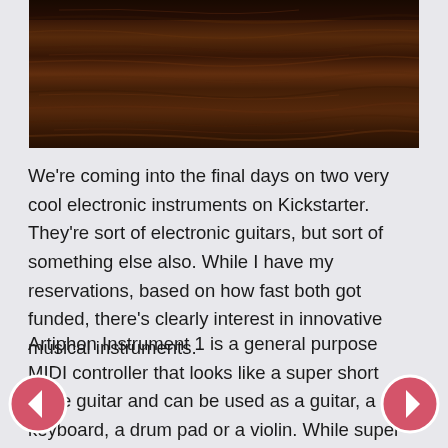[Figure (photo): Dark wood grain surface, viewed from above, showing rich brown tones with natural wood grain patterns running horizontally.]
We're coming into the final days on two very cool electronic instruments on Kickstarter.  They're sort of electronic guitars, but sort of something else also. While I have my reservations, based on how fast both got funded, there's clearly interest in innovative musical instruments.
Artiphon Instrument 1 is a general purpose MIDI controller that looks like a super short scale guitar and can be used as a guitar, a keyboard, a drum pad or a violin. While super innovative, I somehow wonder whether it's trying to do too much. Still, if you were traveling and wanted to have just one instrument with you to use for a bunch of